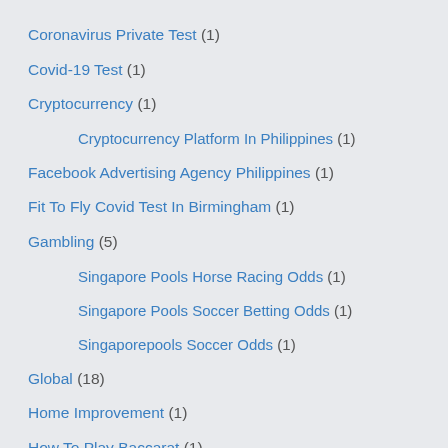Coronavirus Private Test (1)
Covid-19 Test (1)
Cryptocurrency (1)
Cryptocurrency Platform In Philippines (1)
Facebook Advertising Agency Philippines (1)
Fit To Fly Covid Test In Birmingham (1)
Gambling (5)
Singapore Pools Horse Racing Odds (1)
Singapore Pools Soccer Betting Odds (1)
Singaporepools Soccer Odds (1)
Global (18)
Home Improvement (1)
How To Play Baccarat (1)
Infographics (23)
Motorcycle Accessories (2)